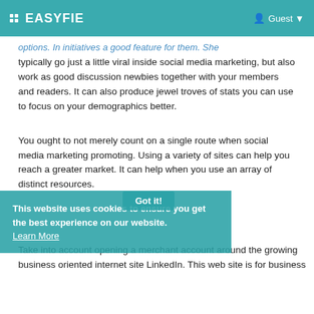EASYFIE  Guest
typically go just a little viral inside social media marketing, but also work as good discussion newbies together with your members and readers. It can also produce jewel troves of stats you can use to focus on your demographics better.
You ought to not merely count on a single route when social media marketing promoting. Using a variety of sites can help you reach a greater market. It can help when you use an array of distinct resources.
This website uses cookies to ensure you get the best experience on our website. Learn More
Take into account opening a merchant account around the growing business oriented internet site LinkedIn. This web site is for business